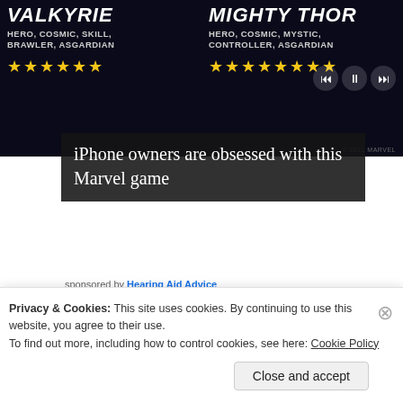[Figure (screenshot): Mobile game advertisement showing VALKYRIE and MIGHTY THOR characters from a Marvel game. Both labeled HERO, COSMIC with star ratings. Play/pause controls visible on right.]
iPhone owners are obsessed with this Marvel game
sponsored by Hearing Aid Advice
[Figure (logo): Hearing Aid Advice logo - circular/wave logo mark]
World Leading Provider in Hearing Aids. Check if you qualify for a no-risk trial today!
[Figure (photo): Partial image of person, brownish tones, appears to be a hearing aid advertisement image]
Privacy & Cookies: This site uses cookies. By continuing to use this website, you agree to their use.
To find out more, including how to control cookies, see here: Cookie Policy
Close and accept